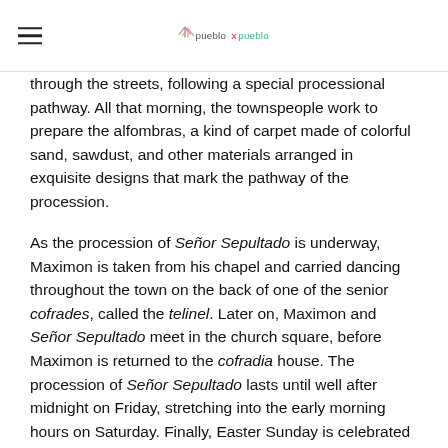puebloxpueblo
through the streets, following a special processional pathway.  All that morning, the townspeople work to prepare the alfombras, a kind of carpet made of colorful sand, sawdust, and other materials arranged in exquisite designs that mark the pathway of the procession.
As the procession of Señor Sepultado is underway, Maximon is taken from his chapel and carried dancing throughout the town on the back of one of the senior cofrades, called the telinel. Later on, Maximon and Señor Sepultado meet in the church square, before Maximon is returned to the cofradia house. The procession of Señor Sepultado lasts until well after midnight on Friday, stretching into the early morning hours on Saturday. Finally, Easter Sunday is celebrated with a mass at the main church.